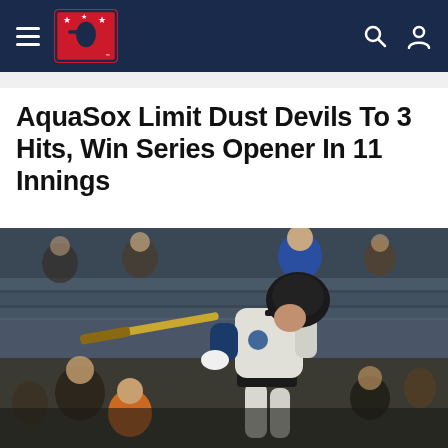Minor League Baseball navigation header with hamburger menu, MiLB logo, search and user icons
AquaSox Limit Dust Devils To 3 Hits, Win Series Opener In 11 Innings
[Figure (photo): Baseball player in a light grey AquaSox uniform swinging a bat during a game, wearing a dark helmet. Crowd visible in blurred background, stadium seats in blue-grey tones.]